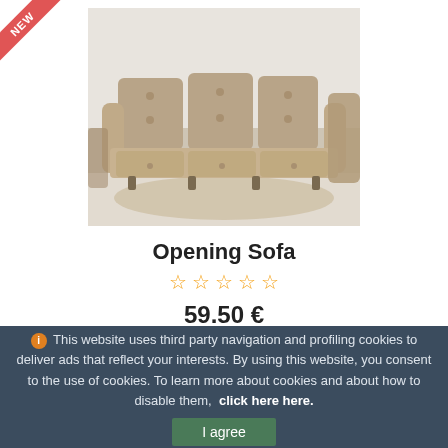[Figure (photo): Photo of a beige/brown tufted three-seat sofa with armchairs visible in background, stored in a warehouse or showroom with white brick walls]
Opening Sofa
★★★★★ (5 empty stars rating)
59.50 €
BUY NOW
This website uses third party navigation and profiling cookies to deliver ads that reflect your interests. By using this website, you consent to the use of cookies. To learn more about cookies and about how to disable them, click here here.
I agree